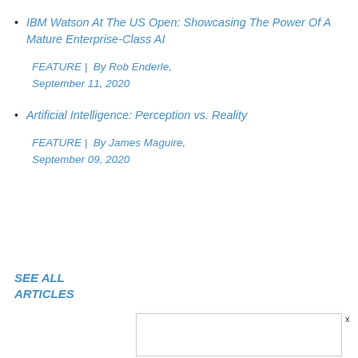IBM Watson At The US Open: Showcasing The Power Of A Mature Enterprise-Class AI
FEATURE | By Rob Enderle, September 11, 2020
Artificial Intelligence: Perception vs. Reality
FEATURE | By James Maguire, September 09, 2020
SEE ALL
ARTICLES
[Figure (other): Advertisement box with close button (x)]